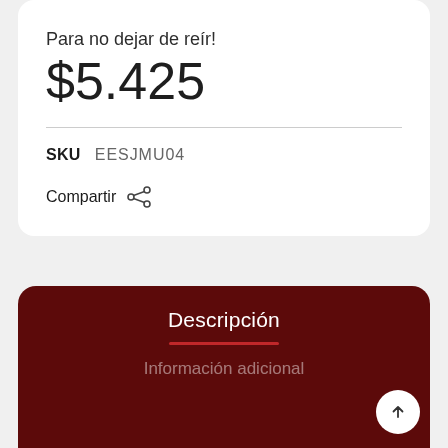Para no dejar de reír!
$5.425
SKU   EESJMU04
Compartir
Descripción
Información adicional